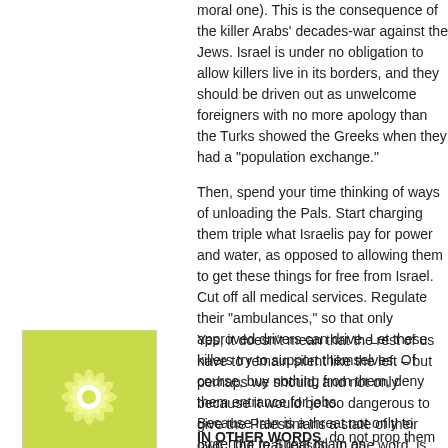moral one). This is the consequence of the killer Arabs' decades-war against the Jews. Israel is under no obligation to allow killers live in its borders, and they should be driven out as unwelcome foreigners with no more apology than the Turks showed the Greeks when they had a "population exchange."
Then, spend your time thinking of ways of unloading the Pals. Start charging them triple what Israelis pay for power and water, as opposed to allowing them to get these things for free from Israel. Cut off all medical services. Regulate their "ambulances," so that only approved drivers can drive. Let these killers try to support themselves. Of course, buy nothing from them, deny them entrance for jobs.
IN OTHER WORDS, do not prop them up. You want them to leave. When they do, make sure they are not allowed back.
The Israeli right needs detailed plans.
Posted by: sk | January 29, 2007 at 02:08 AM
[Figure (illustration): Green and white decorative avatar/icon with a snowflake or flower pattern on a yellow-green background]
Yes, it doesn't mean that the rest of us have to remain silent like the left – but perhaps we should, and not only because it would be too dangerous to give the Palestinians a state of their own. The real reason, in one word, is Iran.
Because Iran is a threat not only to Israel but to Sunni Islam as